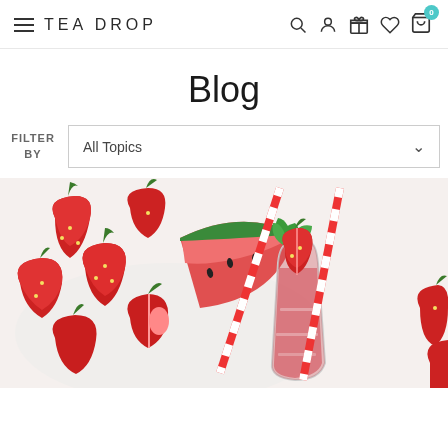TEA DROP navigation bar with hamburger menu, search, account, gift, wishlist, cart icons
Blog
FILTER BY  All Topics
[Figure (photo): Fresh strawberries and watermelon slices on a white plate on the left, and a glass of pink strawberry drink with mint leaves and a red-and-white striped straw on the right]